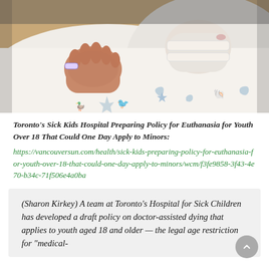[Figure (photo): Close-up photo of a baby's hands resting on white hospital blanket with blue sea-themed printed patterns (starfish, duck, shell). The baby has a hospital ID bracelet on one wrist and bandaging on the hand.]
Toronto's Sick Kids Hospital Preparing Policy for Euthanasia for Youth Over 18 That Could One Day Apply to Minors:
https://vancouversun.com/health/sick-kids-preparing-policy-for-euthanasia-for-youth-over-18-that-could-one-day-apply-to-minors/wcm/f3fe9858-3f43-4e70-b34c-71f506e4a0ba
(Sharon Kirkey) A team at Toronto's Hospital for Sick Children has developed a draft policy on doctor-assisted dying that applies to youth aged 18 and older — the legal age restriction for "medical-